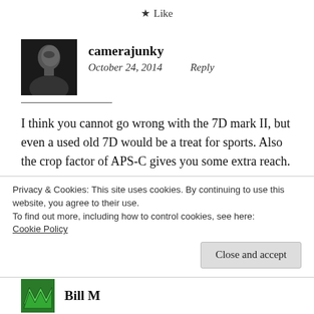★ Like
[Figure (photo): Black and white avatar photo of a man in profile view]
camerajunky
October 24, 2014    Reply
I think you cannot go wrong with the 7D mark II, but even a used old 7D would be a treat for sports. Also the crop factor of APS-C gives you some extra reach.
Privacy & Cookies: This site uses cookies. By continuing to use this website, you agree to their use.
To find out more, including how to control cookies, see here:
Cookie Policy
Close and accept
Bill M